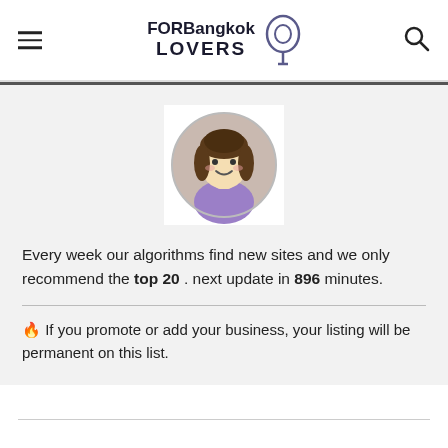FORBangkok LOVERS
[Figure (illustration): Circular avatar illustration of a cartoon woman with brown hair and a purple top, on a white square background]
Every week our algorithms find new sites and we only recommend the top 20 . next update in 896 minutes.
🔥 If you promote or add your business, your listing will be permanent on this list.